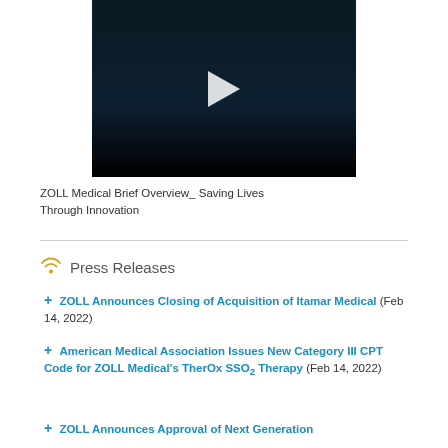[Figure (screenshot): Video player with dark background and white play button triangle in center]
ZOLL Medical Brief Overview_ Saving Lives Through Innovation
Press Releases
ZOLL Announces Closing of Acquisition of Itamar Medical (Feb 14, 2022)
American Medical Association Issues New Category III CPT Code for ZOLL Medical's TherOx SSO2 Therapy (Feb 14, 2022)
ZOLL Announces Approval of Next Generation